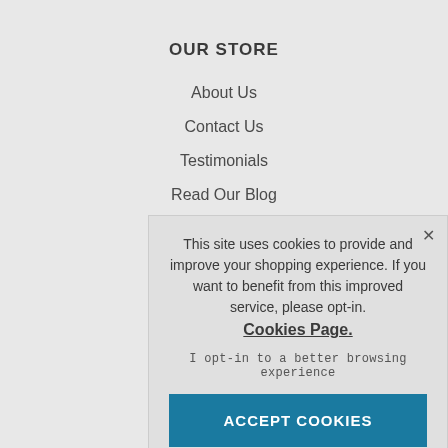OUR STORE
About Us
Contact Us
Testimonials
Read Our Blog
Meet The Team
This site uses cookies to provide and improve your shopping experience. If you want to benefit from this improved service, please opt-in. Cookies Page.

I opt-in to a better browsing experience

ACCEPT COOKIES